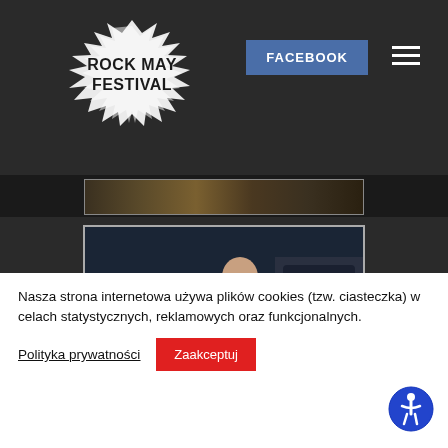[Figure (logo): Rock May Festival logo in white spiky/jagged text style on dark background]
[Figure (photo): Drummer playing a drum kit on stage with chrome/silver drums and cymbals, blue/teal lighting]
Nasza strona internetowa używa plików cookies (tzw. ciasteczka) w celach statystycznych, reklamowych oraz funkcjonalnych.
Polityka prywatności
Zaakceptuj